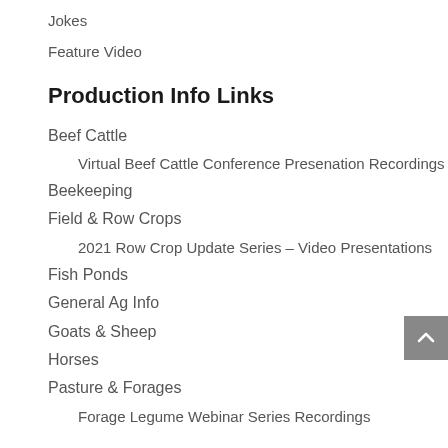Jokes
Feature Video
Production Info Links
Beef Cattle
Virtual Beef Cattle Conference Presenation Recordings
Beekeeping
Field & Row Crops
2021 Row Crop Update Series – Video Presentations
Fish Ponds
General Ag Info
Goats & Sheep
Horses
Pasture & Forages
Forage Legume Webinar Series Recordings